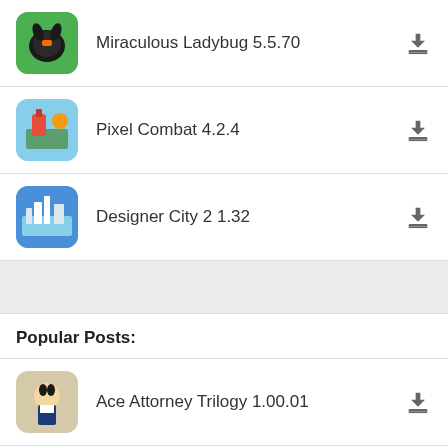Miraculous Ladybug 5.5.70
Pixel Combat 4.2.4
Designer City 2 1.32
Popular Posts:
Ace Attorney Trilogy 1.00.01
My Child Lebensborn 1.7.101